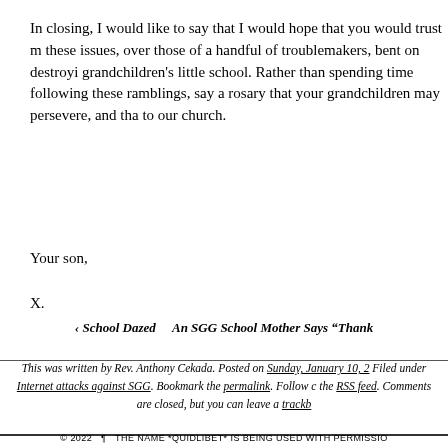In closing, I would like to say that I would hope that you would trust m these issues, over those of a handful of troublemakers, bent on destroyi grandchildren's little school. Rather than spending time following these ramblings, say a rosary that your grandchildren may persevere, and tha to our church.
Your son,
X.
This was written by Rev. Anthony Cekada. Posted on Sunday, January 10, 2 Filed under Internet attacks against SGG. Bookmark the permalink. Follow c the RSS feed. Comments are closed, but you can leave a trackb
‹ School Dazed    An SGG School Mother Says “Thank
© 2022  ¶  THE NAME *QUIDLIBET* IS BEING USED WITH PERMISSIO CUNNINGHAM.